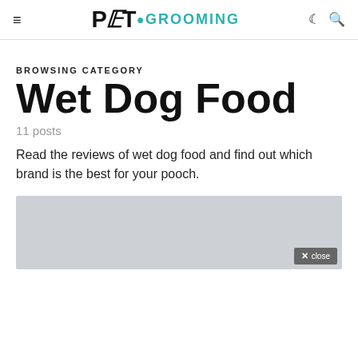PET · GROOMING
BROWSING CATEGORY
Wet Dog Food
11 posts
Read the reviews of wet dog food and find out which brand is the best for your pooch.
[Figure (other): Gray placeholder image area at the bottom of the page with a close button in the bottom-right corner]